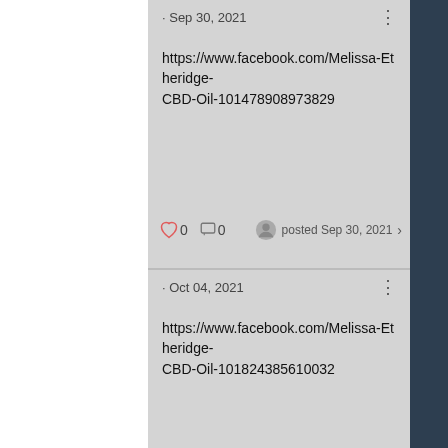· Sep 30, 2021
https://www.facebook.com/Melissa-Etheridge-CBD-Oil-101478908973829
0  0  posted Sep 30, 2021
· Oct 04, 2021
https://www.facebook.com/Melissa-Etheridge-CBD-Oil-101824385610032
0  0  posted Oct 04, 2021
[Figure (logo): Google Reviews logo with 5 gold stars]
"Our experience with Brandon and his team at The Basement Store could not have been more positive. Brandon walked us thro...entire process,